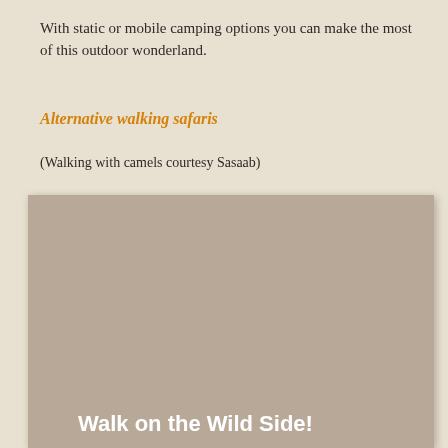With static or mobile camping options you can make the most of this outdoor wonderland.
Alternative walking safaris
(Walking with camels courtesy Sasaab)
[Figure (photo): Close-up photo of two camels decorated with colorful pom-pom halters. Text overlay reads 'Walk on the Wild Side!' in white bold font on a tan/beige background panel.]